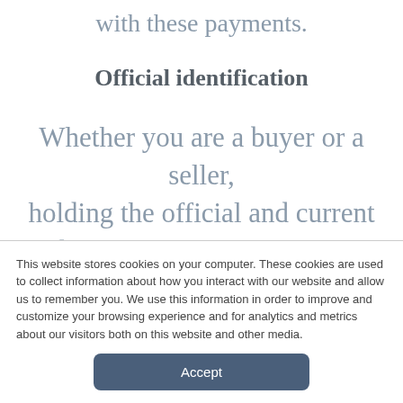with these payments.
Official identification
Whether you are a buyer or a seller, holding the official and current identification is essential. In
This website stores cookies on your computer. These cookies are used to collect information about how you interact with our website and allow us to remember you. We use this information in order to improve and customize your browsing experience and for analytics and metrics about our visitors both on this website and other media.
Accept